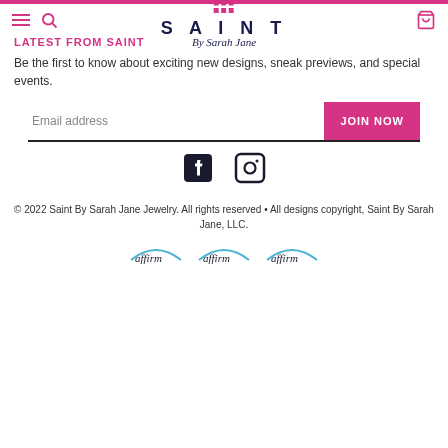SAINT By Sarah Jane — navigation header with hamburger, search, logo, and cart icons
LATEST FROM SAINT
Be the first to know about exciting new designs, sneak previews, and special events.
Email address [input field] JOIN NOW button
[Figure (infographic): Facebook and Instagram social media icons]
© 2022 Saint By Sarah Jane Jewelry. All rights reserved • All designs copyright, Saint By Sarah Jane, LLC.
[Figure (logo): Three Affirm payment logos displayed in a row]